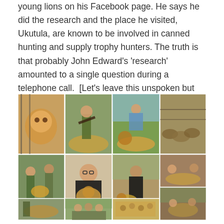young lions on his Facebook page. He says he did the research and the place he visited, Ukutula, are known to be involved in canned hunting and supply trophy hunters. The truth is that probably John Edward's 'research' amounted to a single question during a telephone call.  [Let's leave this unspoken but you know that I know but it's OK.]
[Figure (photo): A collage of multiple photographs showing lions in various settings including caged cubs, trophy hunters posing with dead lions, a man holding a lion cub, hunters with wildlife, and lions in enclosures/pens.]